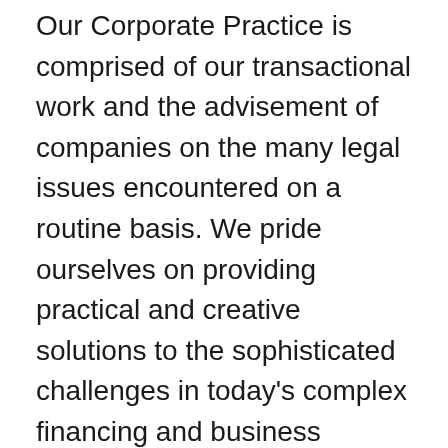Our Corporate Practice is comprised of our transactional work and the advisement of companies on the many legal issues encountered on a routine basis. We pride ourselves on providing practical and creative solutions to the sophisticated challenges in today's complex financing and business environment. Our attorneys provide responsive and efficient solutions to the needs of our corporate clients, rendering us as effective in the boardroom as the courtroom.
Our Estate and Probate Practice is devoted to Estate Planning, Estate/Trust/Guardianship Administration, Elder Care and Special Needs